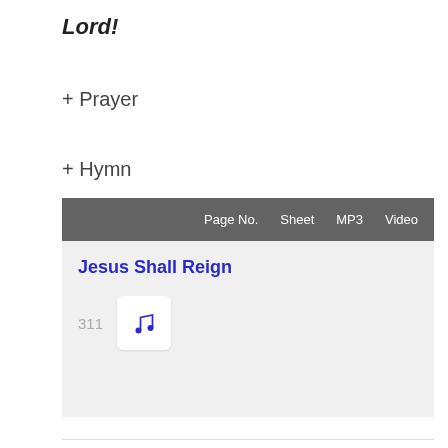Lord!
+ Prayer
+ Hymn
|  | Page No. | Sheet | MP3 | Video |
| --- | --- | --- | --- | --- |
| Jesus Shall Reign | 311 |  |  |  |